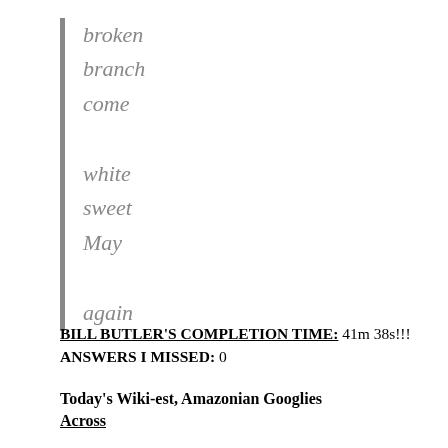broken
branch
come
white
sweet
May
again
BILL BUTLER'S COMPLETION TIME: 41m 38s!!!
ANSWERS I MISSED: 0
Today's Wiki-est, Amazonian Googlies
Across